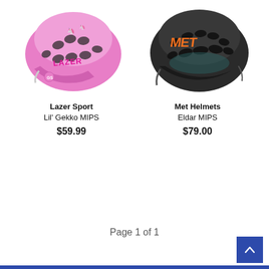[Figure (photo): Pink Lazer Sport Lil' Gekko MIPS bicycle helmet with unicorn design pattern, viewed from the side]
[Figure (photo): Black Met Helmets Eldar MIPS mountain bike helmet with orange MET logo, viewed from the side]
Lazer Sport
Lil' Gekko MIPS
$59.99
Met Helmets
Eldar MIPS
$79.00
Page 1 of 1